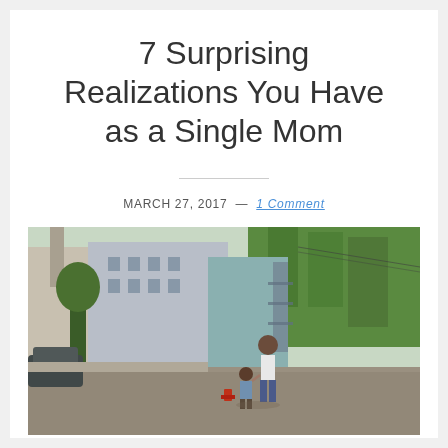7 Surprising Realizations You Have as a Single Mom
MARCH 27, 2017 — 1 Comment
[Figure (photo): A mother and young child walking hand-in-hand on a cobblestone street in an urban neighborhood with brick and concrete buildings, trees, parked cars, and utility lines visible in the background.]